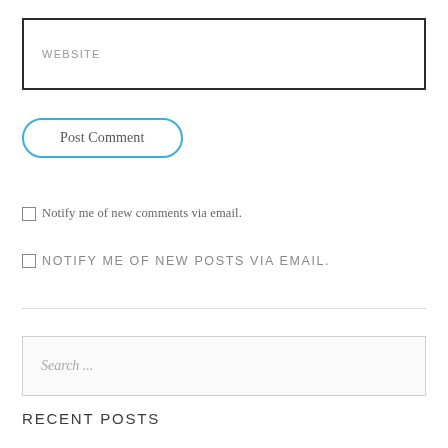WEBSITE
Post Comment
Notify me of new comments via email.
NOTIFY ME OF NEW POSTS VIA EMAIL.
Search ...
RECENT POSTS